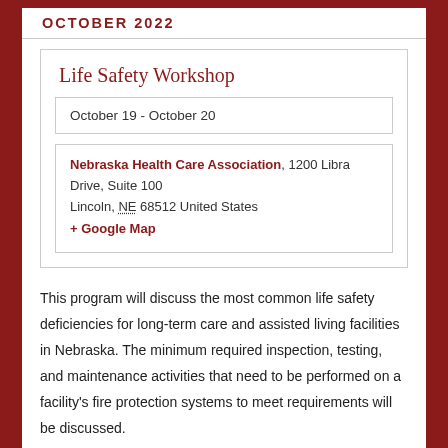OCTOBER 2022
Life Safety Workshop
| October 19 - October 20 |
| Nebraska Health Care Association, 1200 Libra Drive, Suite 100
Lincoln, NE 68512 United States
+ Google Map |
This program will discuss the most common life safety deficiencies for long-term care and assisted living facilities in Nebraska. The minimum required inspection, testing, and maintenance activities that need to be performed on a facility's fire protection systems to meet requirements will be discussed.